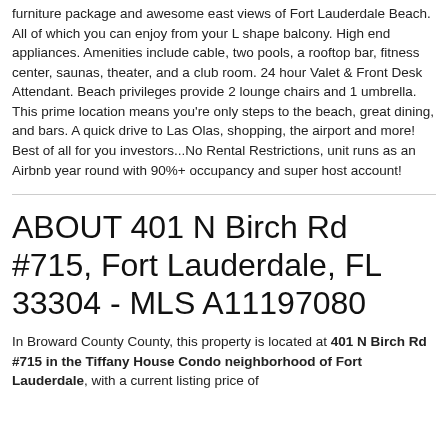furniture package and awesome east views of Fort Lauderdale Beach. All of which you can enjoy from your L shape balcony. High end appliances. Amenities include cable, two pools, a rooftop bar, fitness center, saunas, theater, and a club room. 24 hour Valet & Front Desk Attendant. Beach privileges provide 2 lounge chairs and 1 umbrella. This prime location means you're only steps to the beach, great dining, and bars. A quick drive to Las Olas, shopping, the airport and more! Best of all for you investors...No Rental Restrictions, unit runs as an Airbnb year round with 90%+ occupancy and super host account!
ABOUT 401 N Birch Rd #715, Fort Lauderdale, FL 33304 - MLS A11197080
In Broward County County, this property is located at 401 N Birch Rd #715 in the Tiffany House Condo neighborhood of Fort Lauderdale, with a current listing price of